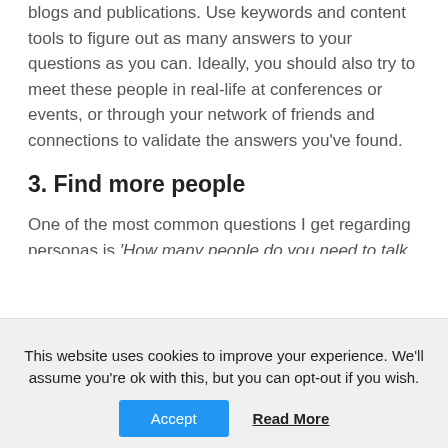blogs and publications. Use keywords and content tools to figure out as many answers to your questions as you can. Ideally, you should also try to meet these people in real-life at conferences or events, or through your network of friends and connections to validate the answers you've found.
3. Find more people
One of the most common questions I get regarding personas is 'How many people do you need to talk to?' There's no perfect number. Talk to as many as it takes to start
This website uses cookies to improve your experience. We'll assume you're ok with this, but you can opt-out if you wish.